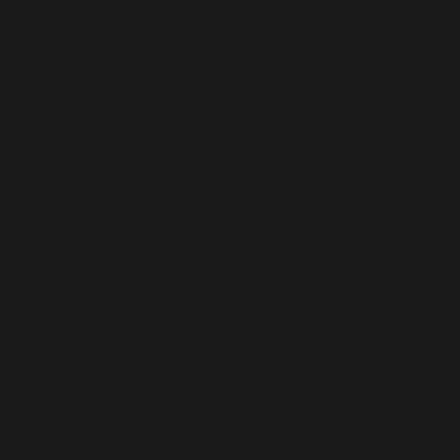[Figure (infographic): Binance cryptocurrency exchange advertisement banner on dark background. Yellow banner with Binance logo, text 'Looking to get started with crypto?', a 'BUY NOW' button, and cryptocurrency coin icons (Bitcoin, Ethereum, Binance Coin, Ripple, and another coin) on the right side.]